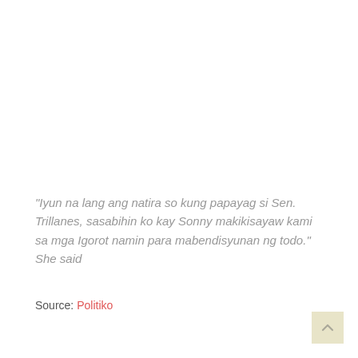“Iyun na lang ang natira so kung papayag si Sen. Trillanes, sasabihin ko kay Sonny makikisayaw kami sa mga Igorot namin para mabendisyunan ng todo.” She said
Source: Politiko